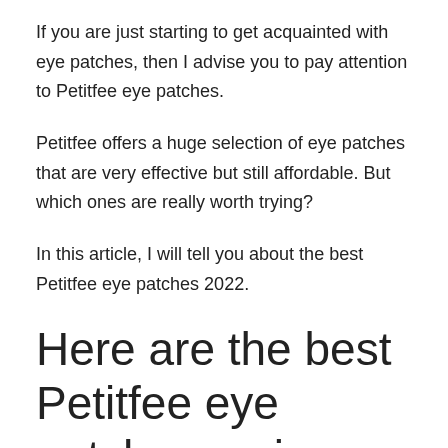If you are just starting to get acquainted with eye patches, then I advise you to pay attention to Petitfee eye patches.
Petitfee offers a huge selection of eye patches that are very effective but still affordable. But which ones are really worth trying?
In this article, I will tell you about the best Petitfee eye patches 2022.
Here are the best Petitfee eye patches review 2022: